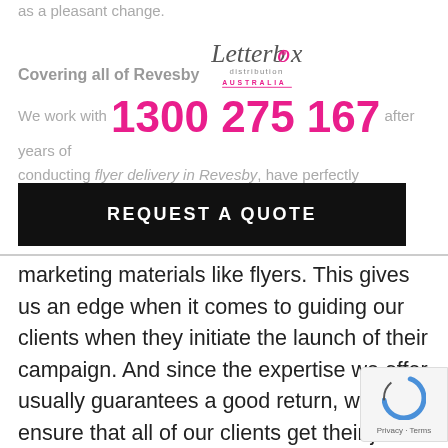as a pleasant change.
[Figure (logo): Letterbox Distribution Australia logo]
Covering all of Revesby
We work with 1300 275 167 after years of conducting flyer delivery in Revesby, have perfectly gotten to know the local population and the areas which are highly receptive to marketing materials like flyers. This gives us an edge when it comes to guiding our clients when they initiate the launch of their campaign. And since the expertise we offer usually guarantees a good return, we ensure that all of our clients get their job done in a cost-efficient manner.
REQUEST A QUOTE
The experience has also given us an in depth understanding of what the average consumer's taste is when it comes to receiving flyers or other marketing material. While conducting flyer delivery